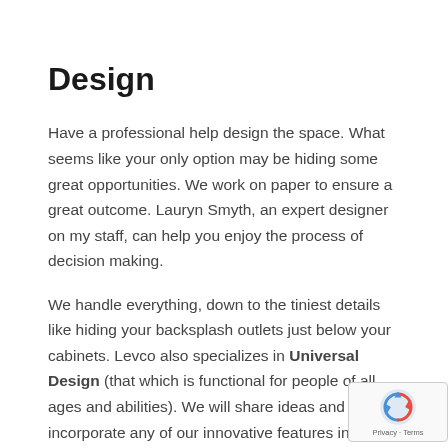Design
Have a professional help design the space. What seems like your only option may be hiding some great opportunities. We work on paper to ensure a great outcome. Lauryn Smyth, an expert designer on my staff, can help you enjoy the process of decision making.
We handle everything, down to the tiniest details like hiding your backsplash outlets just below your cabinets. Levco also specializes in Universal Design (that which is functional for people of all ages and abilities). We will share ideas and gladly incorporate any of our innovative features into y...